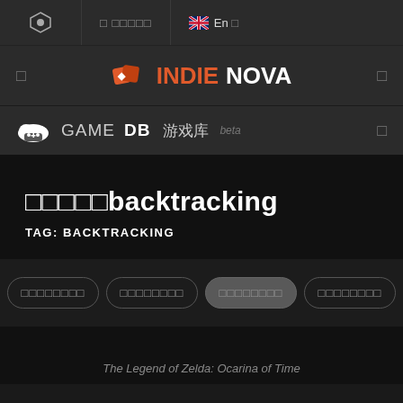IndieNova GAMEDB 游戏库 beta navigation bar
[Figure (logo): IndieNova logo with orange diamond icon, INDIE in orange and NOVA in white]
GAMEDB 游戏库 beta
□□□□□backtracking
TAG: BACKTRACKING
Filter buttons: □□□□□□□□ □□□□□□□□ □□□□□□□□ □□□□□□□□
The Legend of Zelda: Ocarina of Time